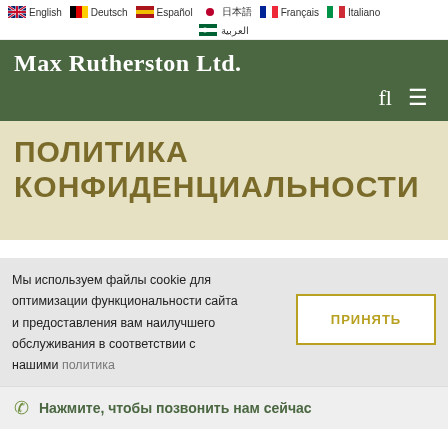English  Deutsch  Español  日本語  Français  Italiano  العربية
Max Rutherston Ltd.
ПОЛИТИКА КОНФИДЕНЦИАЛЬНОСТИ
Мы используем файлы cookie для оптимизации функциональности сайта и предоставления вам наилучшего обслуживания в соответствии с нашими политика
ПРИНЯТЬ
Нажмите, чтобы позвонить нам сейчас